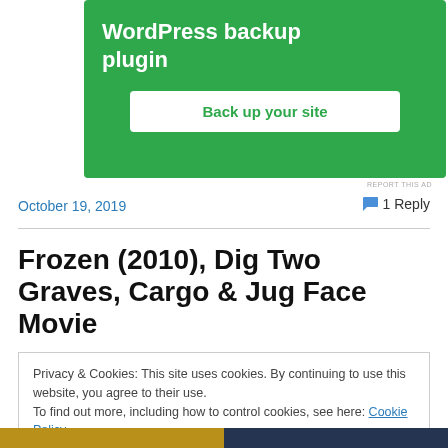[Figure (screenshot): Green advertisement banner for WordPress backup plugin with white button 'Back up your site']
REPORT THIS AD
October 19, 2019
1 Reply
Frozen (2010), Dig Two Graves, Cargo & Jug Face Movie
Privacy & Cookies: This site uses cookies. By continuing to use this website, you agree to their use.
To find out more, including how to control cookies, see here: Cookie Policy
Close and accept